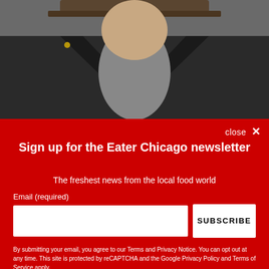[Figure (photo): Cropped photo of a person wearing a black leather jacket and a hat, likely Billy Dec]
Billy Dec  |  Rockit Ranch Productions [Official Photo]
[Figure (photo): Partial photo of a person in a dimly lit restaurant or bar setting]
close ✕
Sign up for the Eater Chicago newsletter
The freshest news from the local food world
Email (required)
SUBSCRIBE
By submitting your email, you agree to our Terms and Privacy Notice. You can opt out at any time. This site is protected by reCAPTCHA and the Google Privacy Policy and Terms of Service apply.